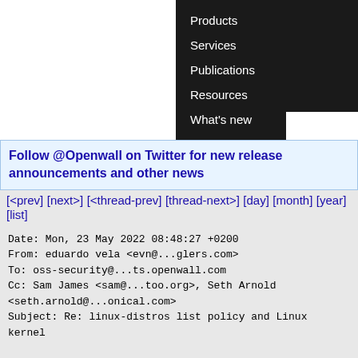[Figure (screenshot): Website navigation menu with dark background showing Products, Services, Publications, Resources, What's new links]
Follow @Openwall on Twitter for new release announcements and other news
[<prev] [next>] [<thread-prev] [thread-next>] [day] [month] [year] [list]
Date: Mon, 23 May 2022 08:48:27 +0200
From: eduardo vela <evn@...glers.com>
To: oss-security@...ts.openwall.com
Cc: Sam James <sam@...too.org>, Seth Arnold <seth.arnold@...onical.com>
Subject: Re: linux-distros list policy and Linux kernel

On Mon, 23 May 2022, 08:35 Greg KH, <greg@...ah.com> wrote:

> On Sun, May 22, 2022 at 08:55:50PM +0100, Sam James
wrote: